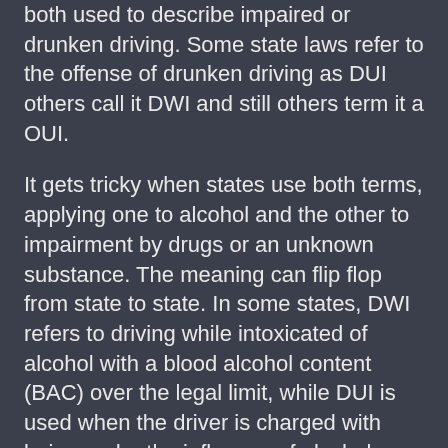both used to describe impaired or drunken driving. Some state laws refer to the offense of drunken driving as DUI others call it DWI and still others term it a OUI.
It gets tricky when states use both terms, applying one to alcohol and the other to impairment by drugs or an unknown substance. The meaning can flip flop from state to state. In some states, DWI refers to driving while intoxicated of alcohol with a blood alcohol content (BAC) over the legal limit, while DUI is used when the driver is charged with being under the influence of alcohol or drugs.
In other states where both terms are used, DWI means driving while impaired (by drugs, alcohol or some unknown substance), while